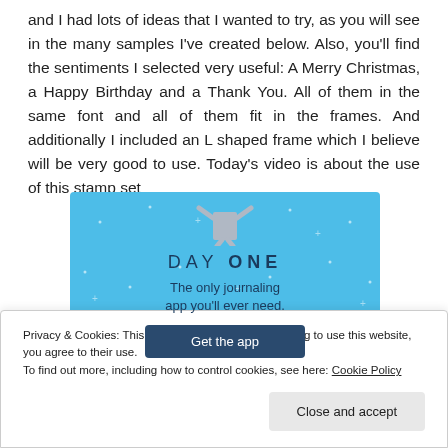and I had lots of ideas that I wanted to try, as you will see in the many samples I've created below. Also, you'll find the sentiments I selected very useful: A Merry Christmas, a Happy Birthday and a Thank You. All of them in the same font and all of them fit in the frames. And additionally I included an L shaped frame which I believe will be very good to use. Today's video is about the use of this stamp set
[Figure (advertisement): Day One app advertisement banner on blue background with app icon, title 'DAY ONE', tagline 'The only journaling app you'll ever need.', and 'Get the app' button.]
Privacy & Cookies: This site uses cookies. By continuing to use this website, you agree to their use.
To find out more, including how to control cookies, see here: Cookie Policy